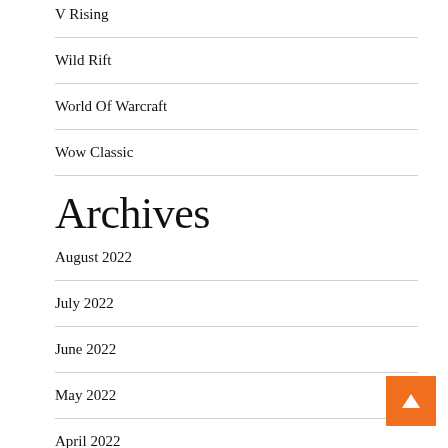V Rising
Wild Rift
World Of Warcraft
Wow Classic
Archives
August 2022
July 2022
June 2022
May 2022
April 2022
March 2022